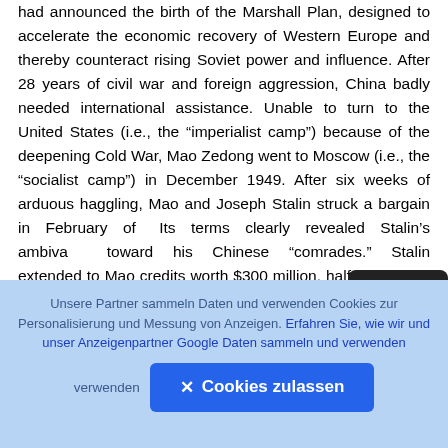had announced the birth of the Marshall Plan, designed to accelerate the economic recovery of Western Europe and thereby counteract rising Soviet power and influence. After 28 years of civil war and foreign aggression, China badly needed international assistance. Unable to turn to the United States (i.e., the “imperialist camp”) because of the deepening Cold War, Mao Zedong went to Moscow (i.e., the “socialist camp”) in December 1949. After six weeks of arduous haggling, Mao and Joseph Stalin struck a bargain in February of [year]. Its terms clearly revealed Stalin’s ambivalence toward his Chinese “comrades.” Stalin extended to Mao credits worth $300 million, half earmarked for the purchase of Soviet military hardware, half for
[Figure (other): Camera/upload icon button overlaid on the text, dark rounded rectangle with a circular arrow icon]
Unsere Partner sammeln Daten und verwenden Cookies zur Personalisierung und Messung von Anzeigen. Erfahren Sie, wie wir und unser Anzeigenpartner Google Daten sammeln und verwenden